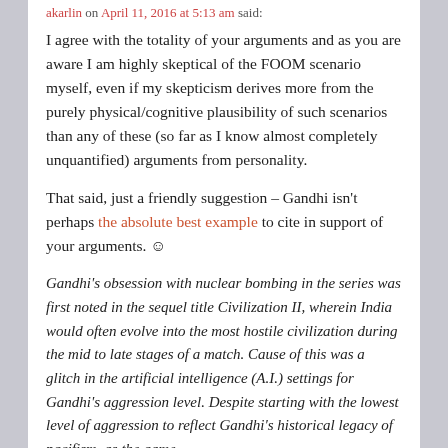akarlin on April 11, 2016 at 5:13 am said:
I agree with the totality of your arguments and as you are aware I am highly skeptical of the FOOM scenario myself, even if my skepticism derives more from the purely physical/cognitive plausibility of such scenarios than any of these (so far as I know almost completely unquantified) arguments from personality.
That said, just a friendly suggestion – Gandhi isn't perhaps the absolute best example to cite in support of your arguments. ☺
Gandhi's obsession with nuclear bombing in the series was first noted in the sequel title Civilization II, wherein India would often evolve into the most hostile civilization during the mid to late stages of a match. Cause of this was a glitch in the artificial intelligence (A.I.) settings for Gandhi's aggression level. Despite starting with the lowest level of aggression to reflect Gandhi's historical legacy of pacifism, as the game ...